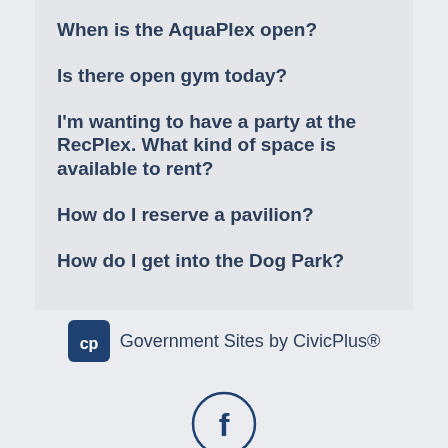When is the AquaPlex open?
Is there open gym today?
I'm wanting to have a party at the RecPlex. What kind of space is available to rent?
How do I reserve a pavilion?
How do I get into the Dog Park?
[Figure (logo): CivicPlus logo with 'Government Sites by CivicPlus®' text]
[Figure (logo): Facebook social media icon circle]